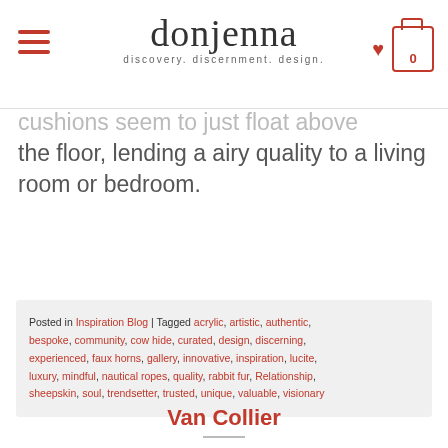donjenna — discovery. discernment. design.
cushions seem to just float above the floor, lending a airy quality to a living room or bedroom.
Posted in Inspiration Blog | Tagged acrylic, artistic, authentic, bespoke, community, cow hide, curated, design, discerning, experienced, faux horns, gallery, innovative, inspiration, lucite, luxury, mindful, nautical ropes, quality, rabbit fur, Relationship, sheepskin, soul, trendsetter, trusted, unique, valuable, visionary
Van Collier